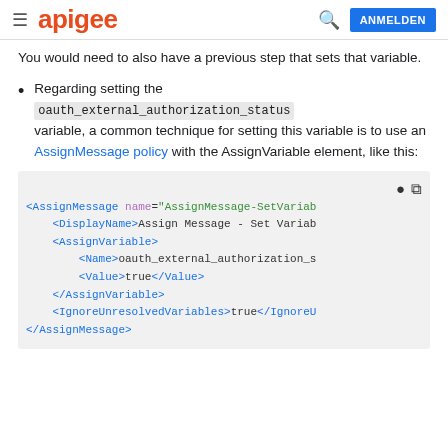apigee  ANMELDEN
You would need to also have a previous step that sets that variable.
Regarding setting the oauth_external_authorization_status variable, a common technique for setting this variable is to use an AssignMessage policy with the AssignVariable element, like this:
[Figure (screenshot): XML code block showing AssignMessage policy with AssignVariable element containing Name oauth_external_authorization_status and Value true, plus IgnoreUnresolvedVariables true, and closing AssignMessage tag.]